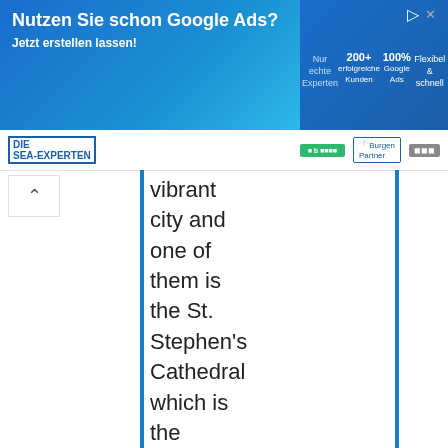[Figure (screenshot): Google Ads promotional banner with blue gradient background. Left side shows 'Nutzen Sie schon Google Ads? Jetzt erstellen lassen!' in white text. Right side shows stats: '200+ erfolgreiche Kunden', '100% Google Ads', 'Nur echte Experten', 'Flexibel & schnell'.]
[Figure (logo): Logo bar with 'DIE SEA-EXPERTEN' logo and partner badges including green 'b' badge, blue 'Burgen Partner' badge, and gray badge.]
vibrant city and one of them is the St. Stephen's Cathedral which is the mother church of the Archdiocese of Vienna and the
between the center of the city and Schönbrunn Palace, in the immediate vicinity of the Westbahnhof (Western Train Station). Read